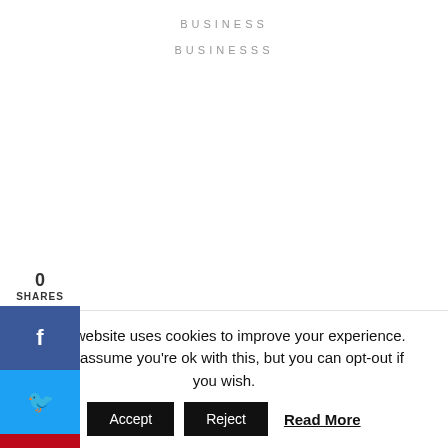BUSINESS
BUSINESSS
0
SHARES
Recent Posts
All About Real Estate Investing
Main Things to Consider earlier than Selecting an Electrician
The Best Car Detailing Methods
This website uses cookies to improve your experience. We'll assume you're ok with this, but you can opt-out if you wish. Accept Reject Read More